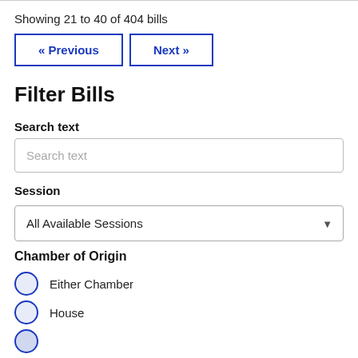Showing 21 to 40 of 404 bills
« Previous   Next »
Filter Bills
Search text
Search text
Session
All Available Sessions
Chamber of Origin
Either Chamber
House